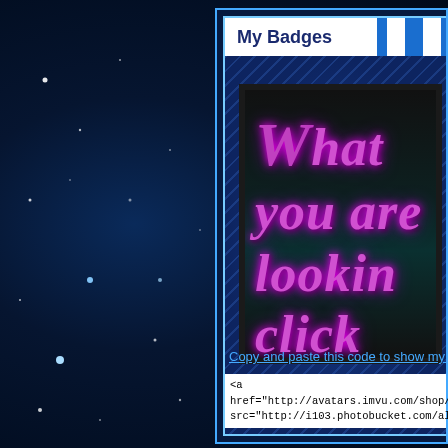[Figure (screenshot): Dark starfield background with blue nebula cloud effect on the left side]
My Badges
[Figure (illustration): Dark banner image with purple gothic text reading 'What you are lookin... click away...what is st...' on a dark teal/black background]
Copy and paste this code to show my ba...
<a href="http://avatars.imvu.com/shop/web_search. src="http://i103.photobucket.com/albums/m132/flor...